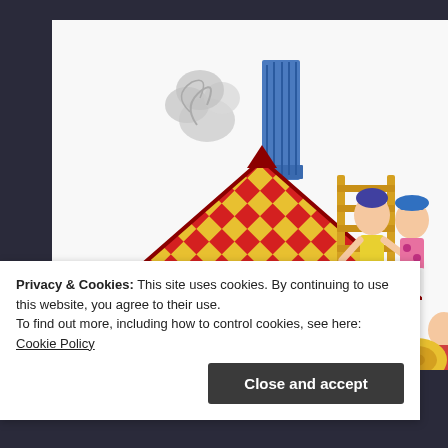[Figure (illustration): Colorful illustrated scene of a toy or storybook house with a red and yellow diamond-patterned roof, a blue chimney with smoke, a child visible underneath the roof, and several children playing with a ladder on the right side. Bright primary colors. Vintage children's book illustration style.]
Privacy & Cookies: This site uses cookies. By continuing to use this website, you agree to their use.
To find out more, including how to control cookies, see here: Cookie Policy
Close and accept